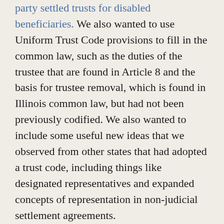party settled trusts for disabled beneficiaries. We also wanted to use Uniform Trust Code provisions to fill in the common law, such as the duties of the trustee that are found in Article 8 and the basis for trustee removal, which is found in Illinois common law, but had not been previously codified. We also wanted to include some useful new ideas that we observed from other states that had adopted a trust code, including things like designated representatives and expanded concepts of representation in non-judicial settlement agreements.
Now, Illinois has, in fact, remained a grantor intent state, so we have not adopted the provisions of the Uniform Trust Code that shift the focus to the best interests of the beneficiaries. The trust of Illinois did not...